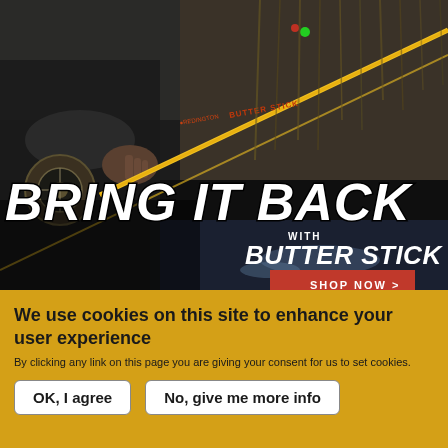[Figure (photo): Person holding a yellow Redington Butter Stick fly fishing rod near water and reeds, outdoors in natural light.]
BRING IT BACK
WITH
BUTTER STICK
SHOP NOW >
We use cookies on this site to enhance your user experience
By clicking any link on this page you are giving your consent for us to set cookies.
OK, I agree
No, give me more info